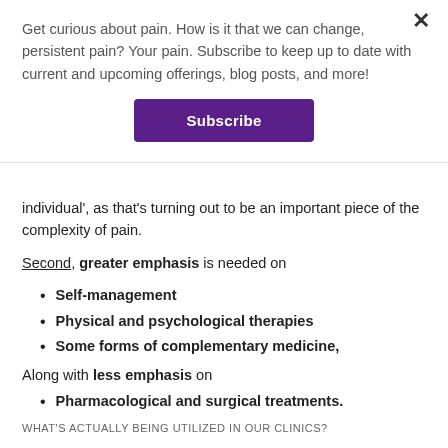Get curious about pain. How is it that we can change, persistent pain? Your pain. Subscribe to keep up to date with current and upcoming offerings, blog posts, and more!
Subscribe
individual', as that's turning out to be an important piece of the complexity of pain.
Second, greater emphasis is needed on
Self-management
Physical and psychological therapies
Some forms of complementary medicine,
Along with less emphasis on
Pharmacological and surgical treatments.
WHAT'S ACTUALLY BEING UTILIZED IN OUR CLINICS?